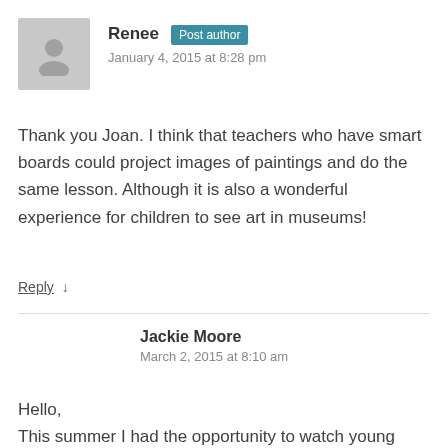Renee  Post author
January 4, 2015 at 8:28 pm
Thank you Joan. I think that teachers who have smart boards could project images of paintings and do the same lesson. Although it is also a wonderful experience for children to see art in museums!
Reply ↓
Jackie Moore
March 2, 2015 at 8:10 am
Hello,
This summer I had the opportunity to watch young students in Montevideo, Uruguay, work with a talented museum